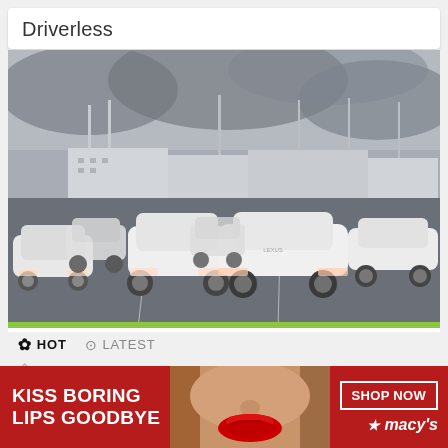Driverless
[Figure (photo): Large parking lot filled with rows of identical white cars under a grey overcast sky, with light poles and buildings in the background.]
❋ HOT   🕐 LATEST
[Figure (photo): Advertisement banner: red background with 'KISS BORING LIPS GOODBYE' text, a woman's face with bold red lips, and Macy's 'SHOP NOW' button with star logo.]